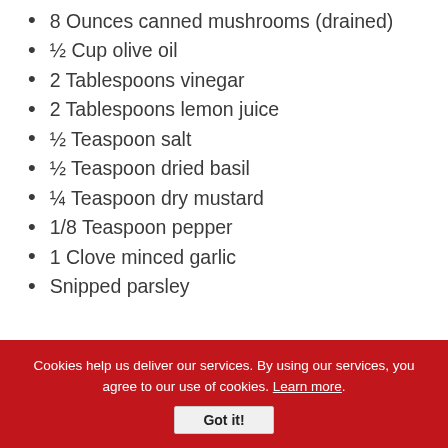8 Ounces canned mushrooms (drained)
½ Cup olive oil
2 Tablespoons vinegar
2 Tablespoons lemon juice
½ Teaspoon salt
½ Teaspoon dried basil
¼ Teaspoon dry mustard
1/8 Teaspoon pepper
1 Clove minced garlic
Snipped parsley
Cookies help us deliver our services. By using our services, you agree to our use of cookies. Learn more. Got it!